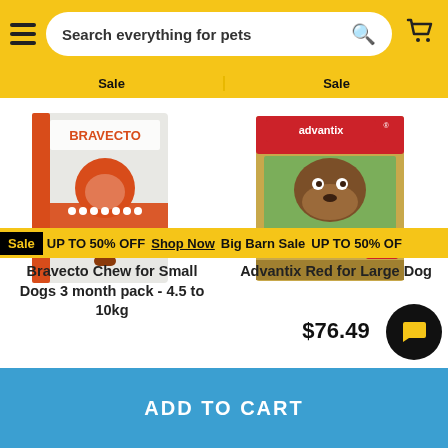Search everything for pets
Sale  UP TO 50% OFF  Shop Now  Big Barn Sale  UP TO 50% OFF
[Figure (photo): Bravecto Chew product box - orange and white packaging for small dogs]
Bravecto Chew for Small Dogs 3 month pack - 4.5 to 10kg
[Figure (photo): Advantix Red for Large Dog product box - gold and red packaging, Fleas & ticks]
Advantix Red for Large Dog
$76.49
ADD TO CART